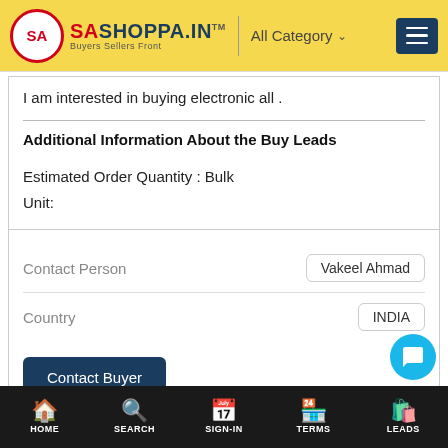SHOPPA.IN – Buyers Sellers Front | All Category
I am interested in buying electronic all .
Additional Information About the Buy Leads
Estimated Order Quantity : Bulk
Unit:
| Field | Value |
| --- | --- |
| Contact Person | Vakeel Ahmad |
| Country | INDIA |
Contact Buyer
HOME | SEARCH | SIGN-IN | TERMS | LEADS